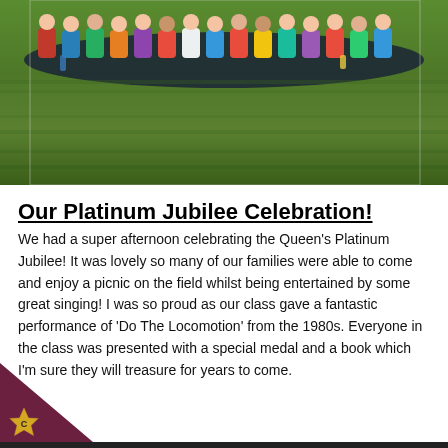[Figure (photo): Group photo of school children sitting on grass outdoors, taken from a distance. Children are wearing colorful clothing and seated on dark mats on green grass.]
Our Platinum Jubilee Celebration!
We had a super afternoon celebrating the Queen's Platinum Jubilee! It was lovely so many of our families were able to come and enjoy a picnic on the field whilst being entertained by some great singing! I was so proud as our class gave a fantastic performance of 'Do The Locomotion' from the 1980s. Everyone in the class was presented with a special medal and a book which I'm sure they will treasure for years to come.